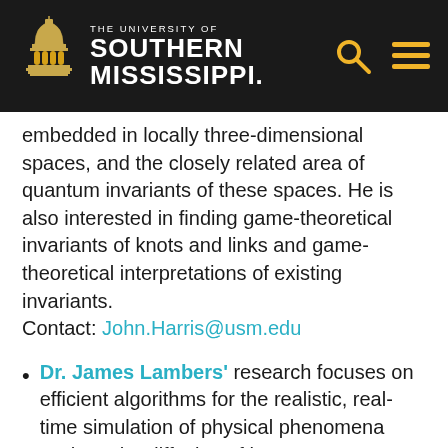[Figure (logo): University of Southern Mississippi logo with dome building illustration and navigation icons (search and menu) on dark header bar]
embedded in locally three-dimensional spaces, and the closely related area of quantum invariants of these spaces. He is also interested in finding game-theoretical invariants of knots and links and game-theoretical interpretations of existing invariants.
Contact: John.Harris@usm.edu
Dr. James Lambers' research focuses on efficient algorithms for the realistic, real-time simulation of physical phenomena such as the diffusion of heat energy,